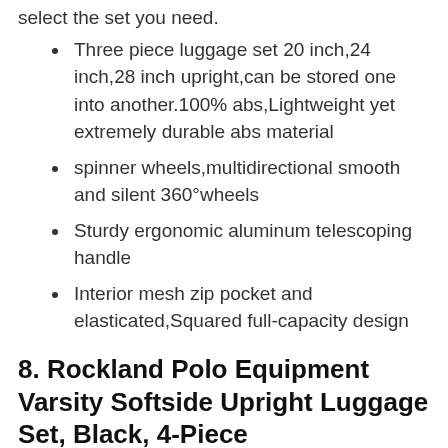select the set you need.
Three piece luggage set 20 inch,24 inch,28 inch upright,can be stored one into another.100% abs,Lightweight yet extremely durable abs material
spinner wheels,multidirectional smooth and silent 360°wheels
Sturdy ergonomic aluminum telescoping handle
Interior mesh zip pocket and elasticated,Squared full-capacity design
8. Rockland Polo Equipment Varsity Softside Upright Luggage Set, Black, 4-Piece